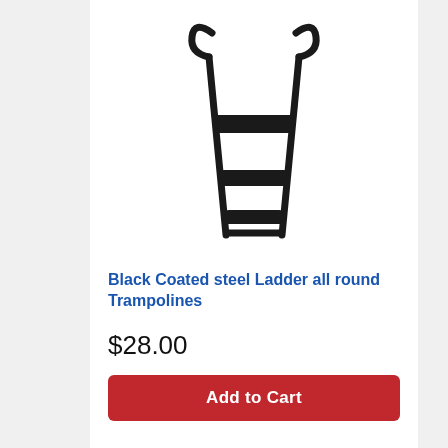[Figure (photo): A black coated steel ladder for trampolines, shown from the front. The ladder has two wide steps/rungs with a trapezoidal frame that widens toward the top, where two curved handles extend outward.]
Black Coated steel Ladder all round Trampolines
$28.00
Add to Cart